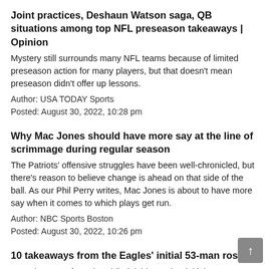Joint practices, Deshaun Watson saga, QB situations among top NFL preseason takeaways | Opinion
Mystery still surrounds many NFL teams because of limited preseason action for many players, but that doesn't mean preseason didn't offer up lessons.
Author: USA TODAY Sports
Posted: August 30, 2022, 10:28 pm
Why Mac Jones should have more say at the line of scrimmage during regular season
The Patriots' offensive struggles have been well-chronicled, but there's reason to believe change is ahead on that side of the ball. As our Phil Perry writes, Mac Jones is about to have more say when it comes to which plays get run.
Author: NBC Sports Boston
Posted: August 30, 2022, 10:26 pm
10 takeaways from the Eagles' initial 53-man roster
Ten takeaways from the Philadelphia Eagles' initial 53-man roster